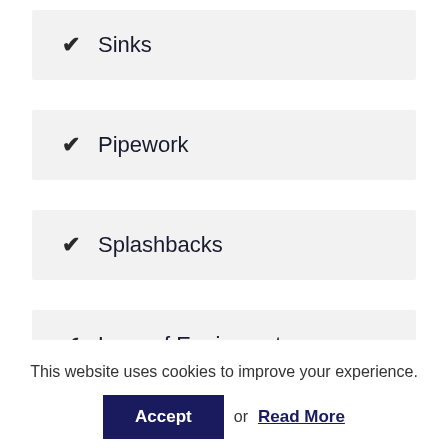✔ Sinks
✔ Pipework
✔ Splashbacks
✔ Legs of Equipment
This website uses cookies to improve your experience.
Accept or Read More